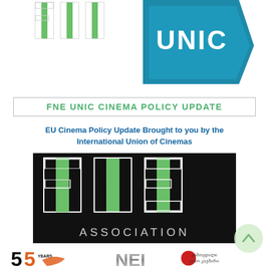[Figure (logo): FNE logo (partial, top-left) — white/green letter blocks on white background]
[Figure (logo): UNIC logo (partial, top-right) — bold teal/blue pentagon shape with white UNIC text]
FNE UNIC CINEMA POLICY UPDATE
EU Cinema Policy Update Brought to you by the International Union of Cinemas
[Figure (logo): FNE Association logo — black background with large green and white FNE block letters and 'ASSOCIATION' text below]
[Figure (logo): 55 Years logo (bottom-left, partial) — bold black/orange '55' with swoosh icon]
[Figure (logo): NEI logo (bottom-center, partial) — metallic letter block style]
[Figure (logo): Georgian association logo (bottom-right area, partial)]
[Figure (other): Light green circular scroll-up / chevron button, right side]